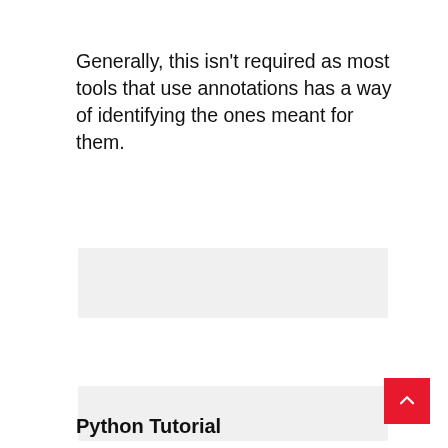Generally, this isn't required as most tools that use annotations has a way of identifying the ones meant for them.
[Figure (other): Light gray rectangular placeholder box]
[Figure (other): Light gray rectangular placeholder box with red scroll-to-top button in bottom right corner]
Python Tutorial